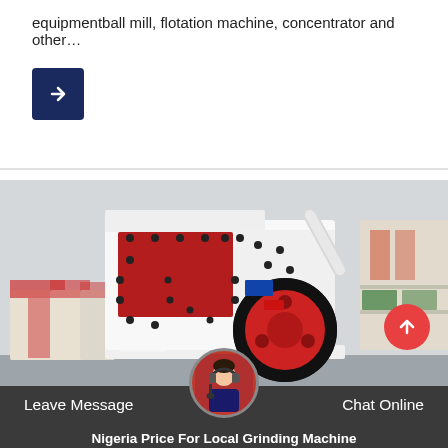equipmentball mill, flotation machine, concentrator and other…
[Figure (photo): White and red industrial impact crusher / grinding machine displayed in a factory warehouse setting, featuring a large red flywheel and red-painted interior, with multiple machines visible in the background.]
Leave Message   Chat Online
Nigeria Price For Local Grinding Machine